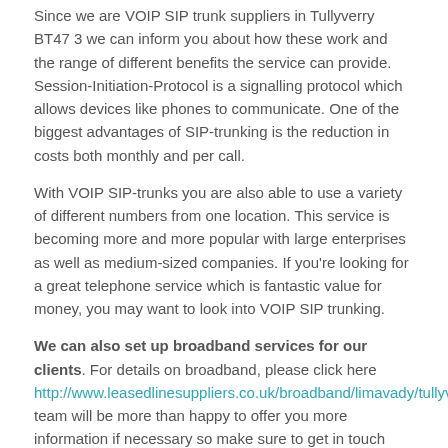Since we are VOIP SIP trunk suppliers in Tullyverry BT47 3 we can inform you about how these work and the range of different benefits the service can provide. Session-Initiation-Protocol is a signalling protocol which allows devices like phones to communicate. One of the biggest advantages of SIP-trunking is the reduction in costs both monthly and per call.
With VOIP SIP-trunks you are also able to use a variety of different numbers from one location. This service is becoming more and more popular with large enterprises as well as medium-sized companies. If you're looking for a great telephone service which is fantastic value for money, you may want to look into VOIP SIP trunking.
We can also set up broadband services for our clients. For details on broadband, please click here http://www.leasedlinesuppliers.co.uk/broadband/limavady/tullyver... team will be more than happy to offer you more information if necessary so make sure to get in touch using the contact form provided.